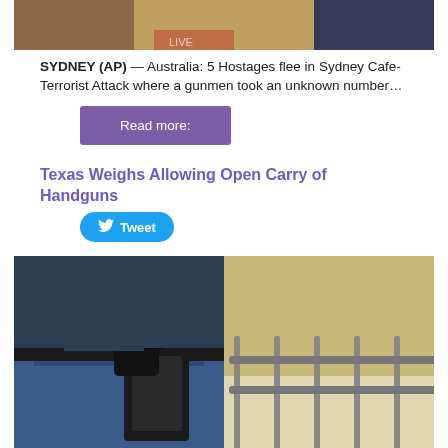[Figure (photo): Top portion of a photo showing a person, partially cropped, with a blurred background.]
SYDNEY (AP) — Australia: 5 Hostages flee in Sydney Cafe-Terrorist Attack where a gunmen took an unknown number…
Read more:
Texas Weighs Allowing Open Carry of Handguns
Tweet
[Figure (photo): Photo of a person wearing jeans with a handgun in a holster on their belt, standing near metal railings outdoors.]